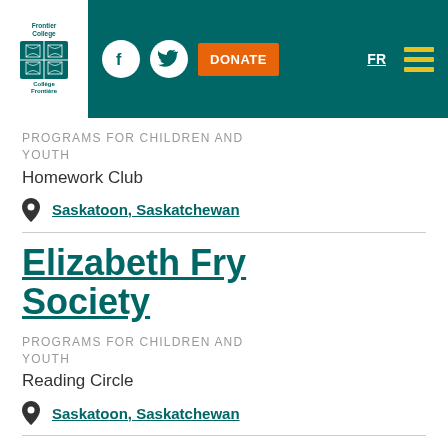Frontier College — header with Facebook, Twitter, Donate button, FR, menu
PROGRAMS FOR CHILDREN AND YOUTH
Homework Club
Saskatoon, Saskatchewan
Elizabeth Fry Society
PROGRAMS FOR CHILDREN AND YOUTH
Reading Circle
Saskatoon, Saskatchewan